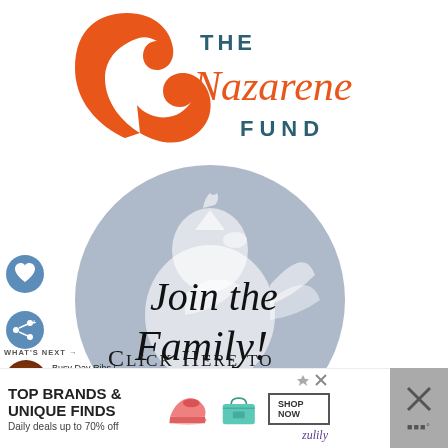[Figure (logo): The Nazarene Fund logo — orange horseshoe/arch shape on left, text 'THE Nazarene FUND' on right in dark teal and orange]
[Figure (illustration): Gray circle with white chicken/rooster silhouette and cursive text 'Join the Family!' overlaid, above text 'Click Here to Sign Up for the']
WHAT'S NEXT → Busy Day Ribs | Slow Cook...
[Figure (photo): Small circular thumbnail of ribs dish]
[Figure (infographic): Advertisement banner: TOP BRANDS & UNIQUE FINDS / Daily deals up to 70% off / SHOP NOW — zulily ad with shoe and bag images]